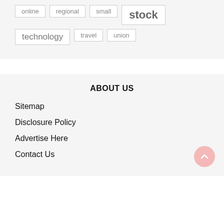online
regional
small
stock
technology
travel
union
ABOUT US
Sitemap
Disclosure Policy
Advertise Here
Contact Us